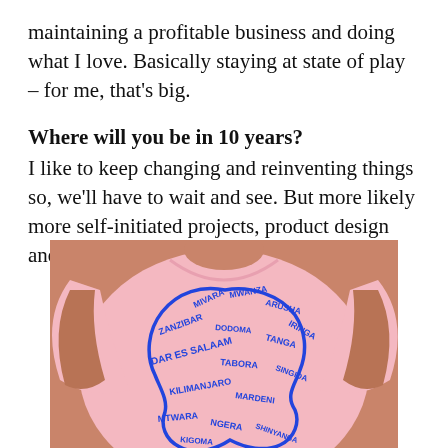maintaining a profitable business and doing what I love. Basically staying at state of play – for me, that's big.
Where will you be in 10 years? I like to keep changing and reinventing things so, we'll have to wait and see. But more likely more self-initiated projects, product design and much less client/commissioned work.
[Figure (photo): Person wearing a pink t-shirt with a blue illustrated brain/map graphic made up of city names including Zanzibar, Dar es Salaam, Arusha, Kilimanjaro, Dodoma, Tanga, and others arranged in typographic form.]